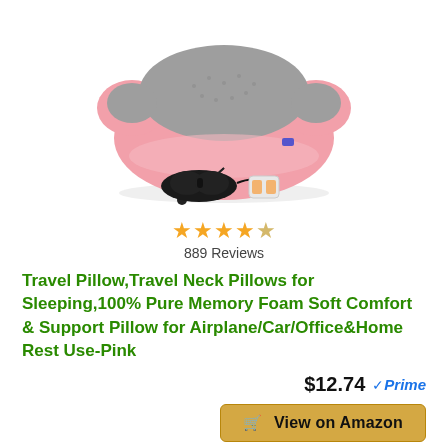[Figure (photo): Pink and gray travel neck pillow with accessories: black eye mask and ear plugs in a small case]
★★★★★ (4.5 stars) 889 Reviews
Travel Pillow,Travel Neck Pillows for Sleeping,100% Pure Memory Foam Soft Comfort & Support Pillow for Airplane/Car/Office&Home Rest Use-Pink
$12.74 Prime
View on Amazon